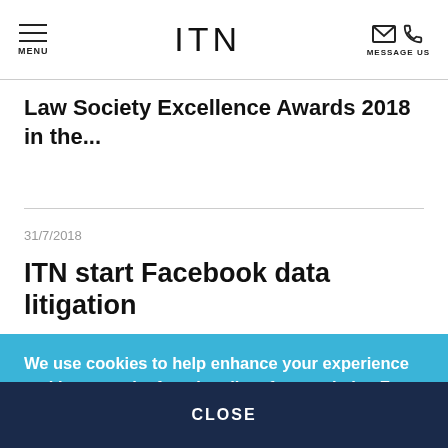MENU | ITN | MESSAGE US
Law Society Excellence Awards 2018 in the...
31/7/2018
ITN start Facebook data litigation
We use cookies to help enhance your experience and improve the functionality of our website. For more details and help to manage your cookie options read our Privacy & Cookies information.
CLOSE